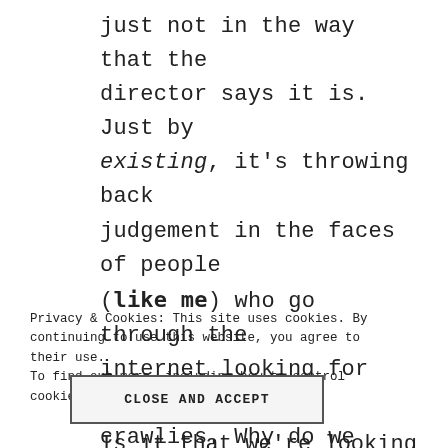just not in the way that the director says it is. Just by existing, it's throwing back judgement in the faces of people (like me) who go through the internet looking for creepy crawlies. Why do we stay up at night reading creepy-pastas? Why do
Privacy & Cookies: This site uses cookies. By continuing to use this website, you agree to their use.
To find out more, including how to control cookies, see here: Cookie Policy
CLOSE AND ACCEPT
Is it that we're looking for that